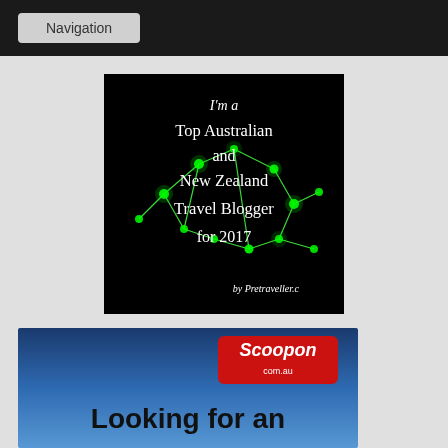Navigation
[Figure (illustration): Dark badge/banner reading: I'm a Top Australian and New Zealand Travel Blogger for 2017, by Pretraveller.c — with green constellation network graphics on black background]
[Figure (illustration): Scoopon.com.au advertisement banner with blue sky background and text 'Looking for an' with Scoopon logo in red]